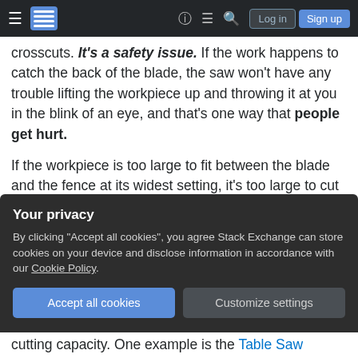Stack Exchange navigation bar with hamburger menu, logo, help, chat, search icons, Log in and Sign up buttons
crosscuts. It's a safety issue. If the work happens to catch the back of the blade, the saw won't have any trouble lifting the workpiece up and throwing it at you in the blink of an eye, and that's one way that people get hurt.
If the workpiece is too large to fit between the blade and the fence at its widest setting, it's too large to cut on your table saw. Switch to a circular saw: you can buy one new for $40 or less, or pick up a decent used one for half that at a garage sale, Ebay, etc. You can easily make a saw guide out of scrap wood
Your privacy
By clicking "Accept all cookies", you agree Stack Exchange can store cookies on your device and disclose information in accordance with our Cookie Policy.
cutting capacity. One example is the Table Saw